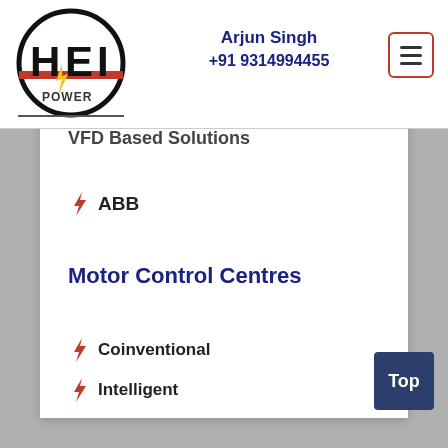[Figure (logo): HEI POWER logo with circular border, bold stylized letters H, E, I in black and red, with 'POWER' text below and a yellow lightning bolt]
Arjun Singh
+91 9314994455
VFD Based Solutions
ABB
Motor Control Centres
Coinventional
Intelligent
Top